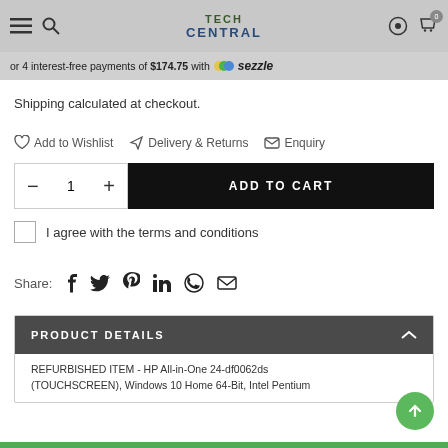Tech Central — navigation header with hamburger, search, logo, settings, and cart icons
or 4 interest-free payments of $174.75 with Sezzle
Shipping calculated at checkout.
♡ Add to Wishlist   ✈ Delivery & Returns   ✉ Enquiry
— 1 +   ADD TO CART
I agree with the terms and conditions
Share: Facebook Twitter Pinterest LinkedIn WhatsApp Email
PRODUCT DETAILS
REFURBISHED ITEM - HP All-in-One 24-df0062ds (TOUCHSCREEN), Windows 10 Home 64-Bit, Intel Pentium